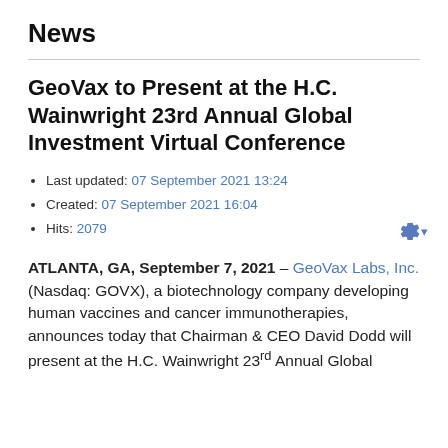News
GeoVax to Present at the H.C. Wainwright 23rd Annual Global Investment Virtual Conference
Last updated: 07 September 2021 13:24
Created: 07 September 2021 16:04
Hits: 2079
ATLANTA, GA, September 7, 2021 – GeoVax Labs, Inc. (Nasdaq: GOVX), a biotechnology company developing human vaccines and cancer immunotherapies, announces today that Chairman & CEO David Dodd will present at the H.C. Wainwright 23rd Annual Global